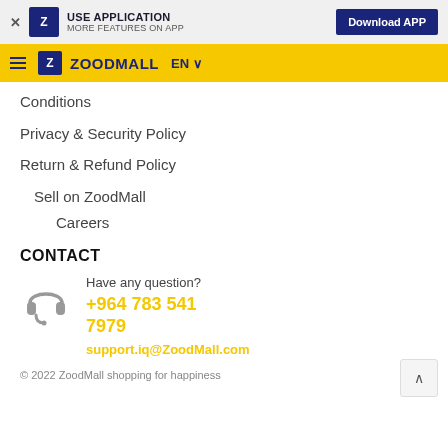USE APPLICATION MORE FEATURES ON APP | Download APP
[Figure (logo): ZoodMall navigation bar with hamburger menu, Z logo, ZOODMALL brand name, EN language selector]
Conditions
Privacy & Security Policy
Return & Refund Policy
Sell on ZoodMall
Careers
CONTACT
Have any question?
+964 783 541 7979
support.iq@ZoodMall.com
© 2022 ZoodMall shopping for happiness